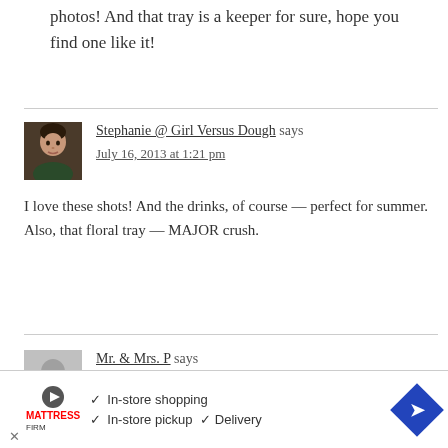photos! And that tray is a keeper for sure, hope you find one like it!
[Figure (photo): Portrait photo of Stephanie, a woman with dark hair]
Stephanie @ Girl Versus Dough says
July 16, 2013 at 1:21 pm

I love these shots! And the drinks, of course — perfect for summer. Also, that floral tray — MAJOR crush.
[Figure (photo): Gray placeholder avatar for Mr. & Mrs. P]
Mr. & Mrs. P says
[Figure (screenshot): Advertisement banner: Mattress Firm - In-store shopping, In-store pickup, Delivery]